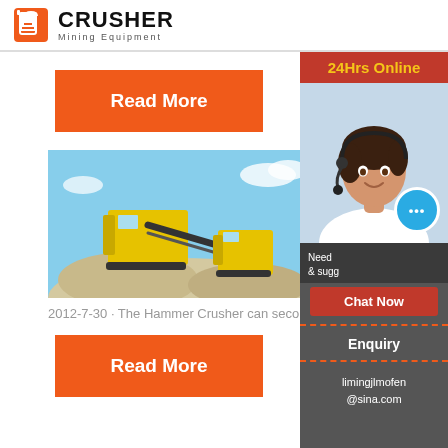CRUSHER Mining Equipment
Read More
[Figure (photo): Mining equipment site with large machinery, conveyor belts, and gravel piles against a blue sky]
Working principle features hammer crusher
2012-7-30 · The Hammer Crusher can second-
Read More
[Figure (photo): 24Hrs Online sidebar with customer service representative wearing headset, Chat Now button, Enquiry link, and email limingjlmofen@sina.com]